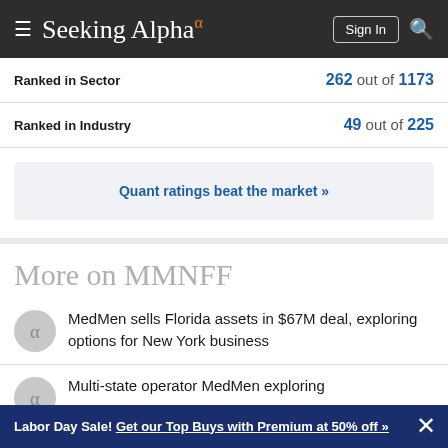Seeking Alpha
Ranked in Sector   262 out of 1173
Ranked in Industry   49 out of 225
Quant ratings beat the market »
More on MMNFF
MedMen sells Florida assets in $67M deal, exploring options for New York business
Multi-state operator MedMen exploring
Labor Day Sale! Get our Top Buys with Premium at 50% off »